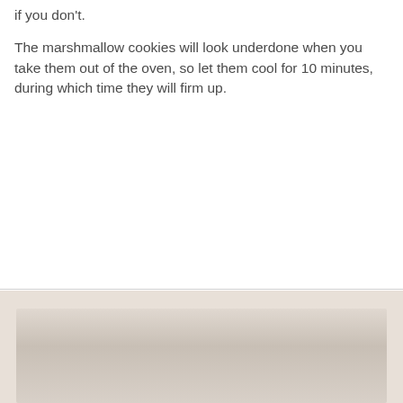if you don't.
The marshmallow cookies will look underdone when you take them out of the oven, so let them cool for 10 minutes, during which time they will firm up.
[Figure (photo): Partial view of a photo at the bottom of the page, showing a light-colored background with a blurred food item (likely cookies).]